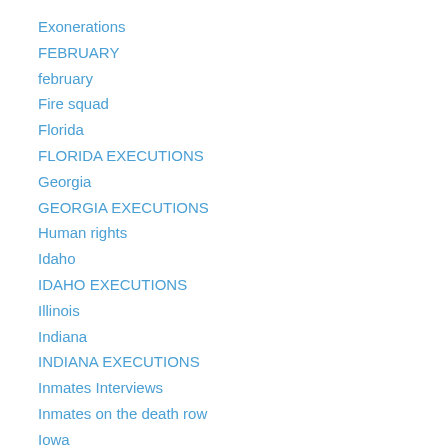Exonerations
FEBRUARY
february
Fire squad
Florida
FLORIDA EXECUTIONS
Georgia
GEORGIA EXECUTIONS
Human rights
Idaho
IDAHO EXECUTIONS
Illinois
Indiana
INDIANA EXECUTIONS
Inmates Interviews
Inmates on the death row
Iowa
JANUARY
JULY
JULY